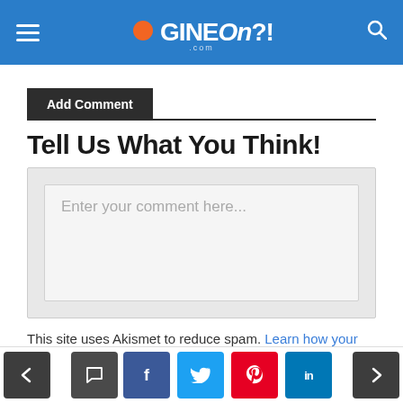GINEOn?! .com
Add Comment
Tell Us What You Think!
Enter your comment here...
This site uses Akismet to reduce spam. Learn how your comment data is processed.
< comment f t p in >